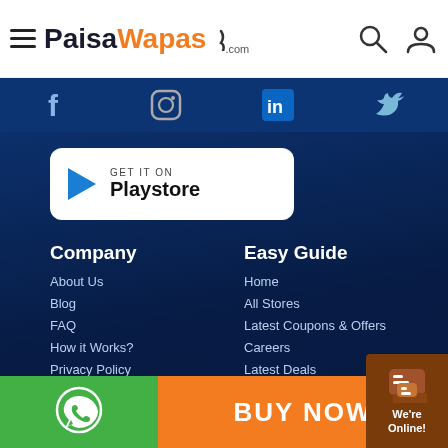PaisaWapas.com
[Figure (logo): PaisaWapas.com logo with hamburger menu, search and user icons]
[Figure (infographic): Social media icons row: Facebook, Instagram, LinkedIn, Twitter]
[Figure (infographic): GET IT ON Playstore button]
Company
Easy Guide
About Us
Blog
FAQ
How it Works?
Privacy Policy
Terms & Conditions
Home
All Stores
Latest Coupons & Offers
Careers
Latest Deals
Hottest Price Drop Deals
Student Program
Hot Sale Offers
Contact us
[Figure (infographic): WhatsApp icon on green background, BUY NOW on orange background, We're Online! chat widget]